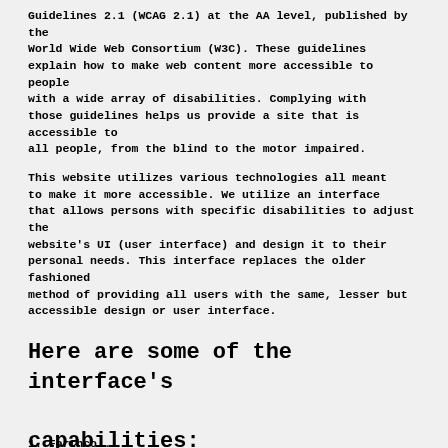Guidelines 2.1 (WCAG 2.1) at the AA level, published by the World Wide Web Consortium (W3C). These guidelines explain how to make web content more accessible to people with a wide array of disabilities. Complying with those guidelines helps us provide a site that is accessible to all people, from the blind to the motor impaired.
This website utilizes various technologies all meant to make it more accessible. We utilize an interface that allows persons with specific disabilities to adjust the website's UI (user interface) and design it to their personal needs. This interface replaces the older fashioned method of providing all users with the same, lesser but accessible design or user interface.
Here are some of the interface's capabilities:
1. Forthcoming...